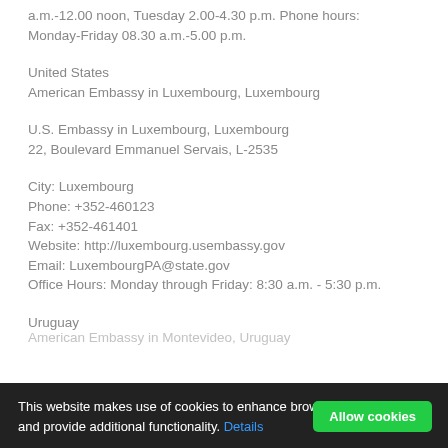a.m.-12.00 noon, Tuesday 2.00-4.30 p.m. Phone hours: Monday-Friday 08.30 a.m.-5.00 p.m.
United States
American Embassy in Luxembourg, Luxembourg
U.S. Embassy in Luxembourg, Luxembourg
22, Boulevard Emmanuel Servais, L-2535
City: Luxembourg
Phone: +352-460123
Fax: +352-461401
Website: http://luxembourg.usembassy.gov
Email: LuxembourgPA@state.gov
Office Hours: Monday through Friday: 8:30 a.m. - 5:30 p.m.
Uruguay
This website makes use of cookies to enhance browsing experience and provide additional functionality. Details
Allow cookies